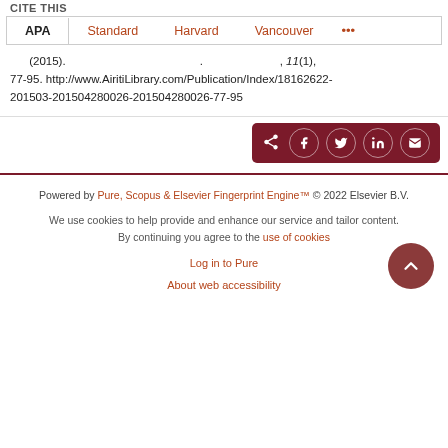CITE THIS
APA | Standard | Harvard | Vancouver | ...
(2015). , 11(1), 77-95. http://www.AiritiLibrary.com/Publication/Index/18162622-201503-201504280026-201504280026-77-95
[Figure (infographic): Share bar with social media icons: share, Facebook, Twitter, LinkedIn, Email]
Powered by Pure, Scopus & Elsevier Fingerprint Engine™ © 2022 Elsevier B.V.

We use cookies to help provide and enhance our service and tailor content. By continuing you agree to the use of cookies

Log in to Pure

About web accessibility